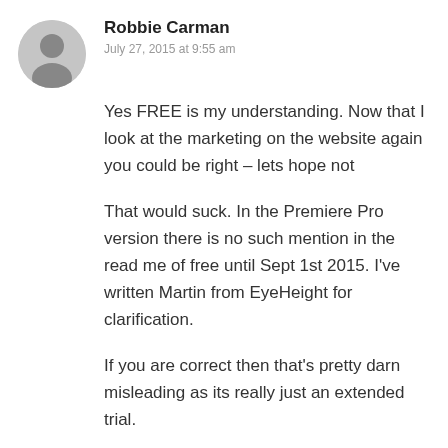Robbie Carman
July 27, 2015 at 9:55 am
Yes FREE is my understanding. Now that I look at the marketing on the website again you could be right – lets hope not

That would suck. In the Premiere Pro version there is no such mention in the read me of free until Sept 1st 2015. I've written Martin from EyeHeight for clarification.

If you are correct then that's pretty darn misleading as its really just an extended trial.
Christophe Delaunay
July 27, 2015 at 10:38 am